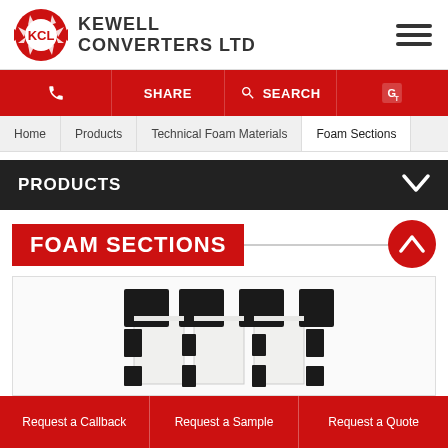[Figure (logo): KCL Kewell Converters Ltd logo with red gear/arrow emblem and company name]
[Figure (infographic): Red navigation bar with phone icon, SHARE, SEARCH magnifier icon, and Google Translate icon]
Home | Products | Technical Foam Materials | Foam Sections
PRODUCTS
FOAM SECTIONS
[Figure (photo): Interlocking black and white foam sections arranged in a cross/puzzle pattern]
Request a Callback   Request a Sample   Request a Quote